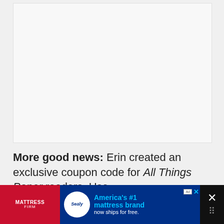[Figure (other): Large image placeholder area, appears blank/white with light border]
More good news: Erin created an exclusive coupon code for All Things Paper readers. Use code ALLTHINGSPAPER for free shipping with
[Figure (other): Advertisement banner: MattressFirm / Sealy - America's #1 mattress brand now ships for free.]